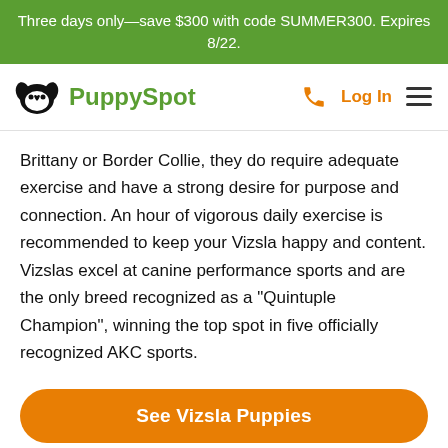Three days only—save $300 with code SUMMER300. Expires 8/22.
[Figure (logo): PuppySpot logo with dog face icon and green text, plus phone icon, Log In, and hamburger menu on right]
Brittany or Border Collie, they do require adequate exercise and have a strong desire for purpose and connection. An hour of vigorous daily exercise is recommended to keep your Vizsla happy and content. Vizslas excel at canine performance sports and are the only breed recognized as a "Quintuple Champion", winning the top spot in five officially recognized AKC sports.
See Vizsla Puppies